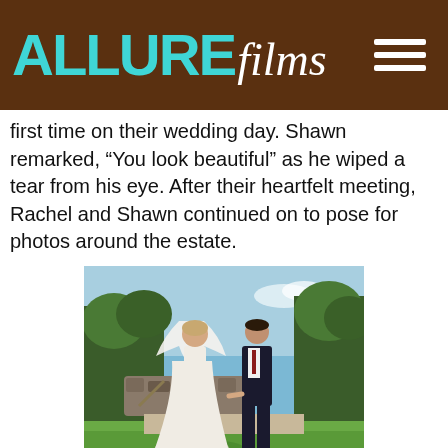ALLURE films
first time on their wedding day. Shawn remarked, "You look beautiful" as he wiped a tear from his eye. After their heartfelt meeting, Rachel and Shawn continued on to pose for photos around the estate.
[Figure (photo): A bride in a white wedding gown and veil holding hands with a groom in a dark suit, posing outdoors on a sunny day with trees and stone landscaping in the background.]